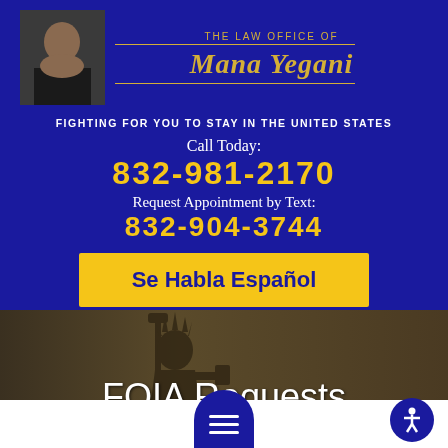[Figure (photo): Portrait photo of attorney Mana Yegani]
THE LAW OFFICE OF
MANA YEGANI
FIGHTING FOR YOU TO STAY IN THE UNITED STATES
Call Today:
832-981-2170
Request Appointment by Text:
832-904-3744
Se Habla Español
[Figure (photo): Statue of Liberty in dark sepia tone background]
FOIA Requests